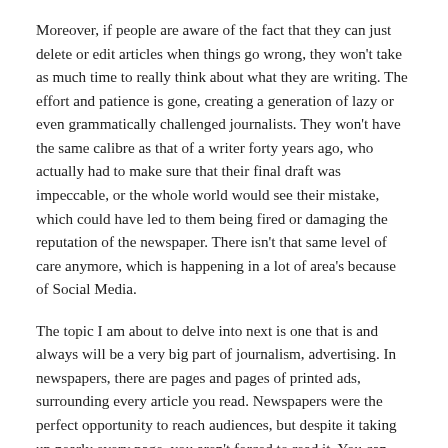Moreover, if people are aware of the fact that they can just delete or edit articles when things go wrong, they won't take as much time to really think about what they are writing. The effort and patience is gone, creating a generation of lazy or even grammatically challenged journalists. They won't have the same calibre as that of a writer forty years ago, who actually had to make sure that their final draft was impeccable, or the whole world would see their mistake, which could have led to them being fired or damaging the reputation of the newspaper. There isn't that same level of care anymore, which is happening in a lot of area's because of Social Media.
The topic I am about to delve into next is one that is and always will be a very big part of journalism, advertising. In newspapers, there are pages and pages of printed ads, surrounding every article you read. Newspapers were the perfect opportunity to reach audiences, but despite it taking up nearly every page, you aren't forced to read it. You can skip over it, turn the page, or just completely ignore it, we